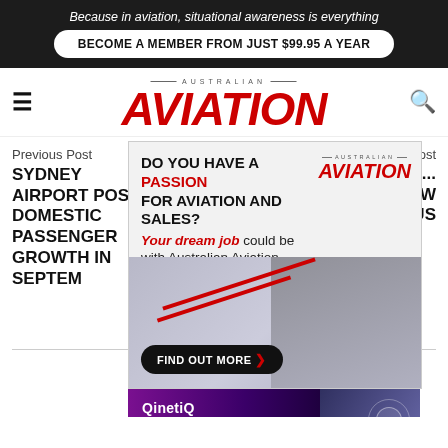Because in aviation, situational awareness is everything
BECOME A MEMBER FROM JUST $99.95 A YEAR
AVIATION
Previous Post
SYDNEY AIRPORT POSTS DOMESTIC PASSENGER GROWTH IN SEPTEMBER
Next Post
AMERICAN... N CREW ...SCIOUS
[Figure (illustration): Australian Aviation job advertisement overlay: 'DO YOU HAVE A PASSION FOR AVIATION AND SALES? Your dream job could be with Australian Aviation. FIND OUT MORE >' with photo of two people in conversation]
[Figure (illustration): QinetiQ banner: 'Enabling critical UAS technologies' with drone imagery on dark purple background]
Phil